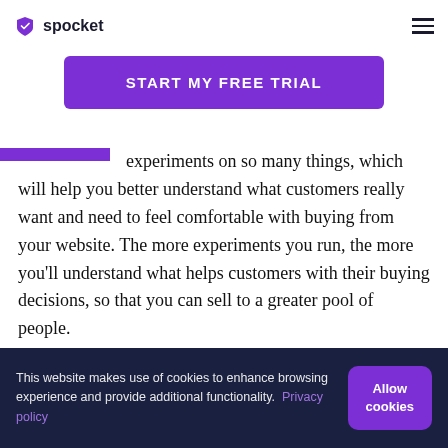spocket
START MY FREE TRIAL
experiments on so many things, which will help you better understand what customers really want and need to feel comfortable with buying from your website. The more experiments you run, the more you'll understand what helps customers with their buying decisions, so that you can sell to a greater pool of people.
This website makes use of cookies to enhance browsing experience and provide additional functionality. Privacy policy